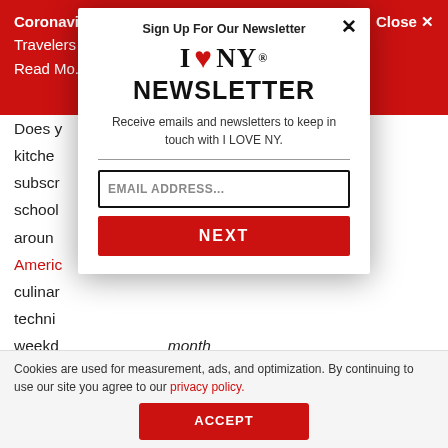Coronavirus Travelers Read Mo... Close ✕
Does y... in the kitchen... subscr... om the school... s around... of Americ... able culinar... weekd... month
[Figure (screenshot): I LOVE NY newsletter signup modal with email input and NEXT button]
Sign Up For Our Newsletter
I ❤ NY NEWSLETTER
Receive emails and newsletters to keep in touch with I LOVE NY.
EMAIL ADDRESS...
NEXT
Cookies are used for measurement, ads, and optimization. By continuing to use our site you agree to our privacy policy.
ACCEPT